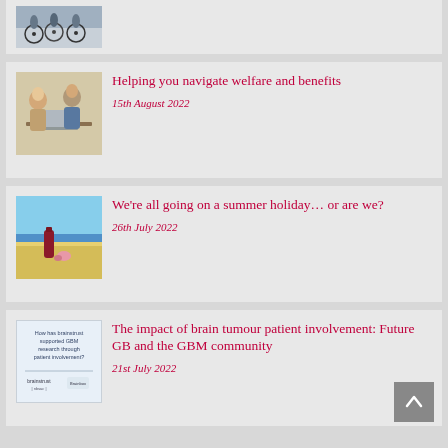[Figure (photo): Top of page: partial view of cyclists/bikes]
[Figure (photo): Two people (man and woman) looking at a laptop together]
Helping you navigate welfare and benefits
15th August 2022
[Figure (photo): Beach scene with a dark bottle and pink shell in the sand]
We're all going on a summer holiday… or are we?
26th July 2022
[Figure (photo): Document image: How has brainstrust supported GBM research through patient involvement? brainstrust and nbsac logos]
The impact of brain tumour patient involvement: Future GB and the GBM community
21st July 2022